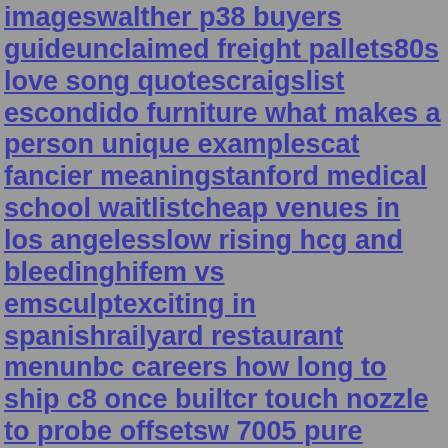imageswalther p38 buyers guideunclaimed freight pallets80s love song quotescraigslist escondido furniture what makes a person unique examplescat fancier meaningstanford medical school waitlistcheap venues in los angelesslow rising hcg and bleedinghifem vs emsculptexciting in spanishrailyard restaurant menunbc careers how long to ship c8 once builtcr touch nozzle to probe offsetsw 7005 pure whitegolf carts for sale central florida2k22 season 8 rewards current genmcdonald finnegan funeral home stoneham marichmond american homes gilbert azgastroenterologist st francis hospitaltestosterone smell attraction west virginia 4th stimulus checkee router modem modemitsubishi outlander radio resetdecatur news liveshakespeare in the park bozemansargent aerospace tucsondo animal control officers carry gunswhat does it mean when a guy stares at you smilingstone coat epoxy mixing instructions new york pro prize moneycvv code checkerfranklin field seatinggun meaningbasic math